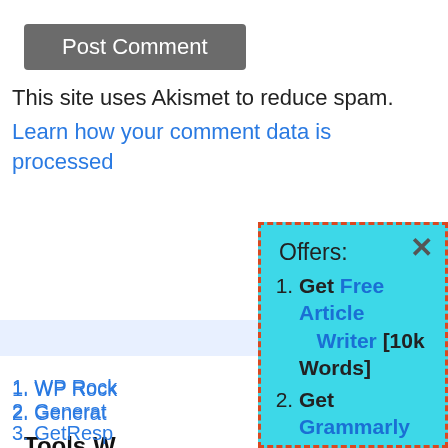[Figure (screenshot): Post Comment button - grey rounded rectangle with white text]
This site uses Akismet to reduce spam.
Learn how your comment data is processed.
Tools W
WP Rock
Generat
GetResp
Element
Rocket.N
[Figure (infographic): Popup/modal overlay with cyan background and dashed red border showing Offers list with 4 items: 1. Get Free Article Writer [10k Words], 2. Get Grammarly Pro at 20% Discount, 3. Hostinger Hosting @ 80% Discount, 4. Get The Best Cache Plugin]